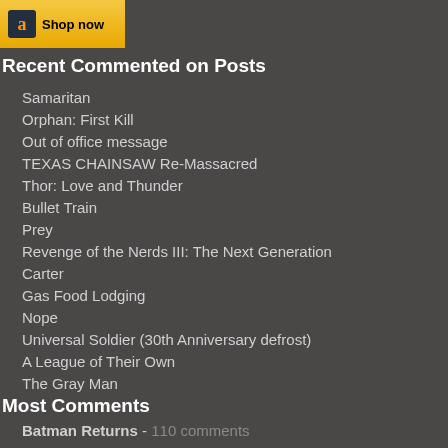[Figure (other): Amazon 'Shop now' advertisement banner with Amazon logo and gold background]
Recent Commented on Posts
Samaritan
Orphan: First Kill
Out of office message
TEXAS CHAINSAW Re-Massacred
Thor: Love and Thunder
Bullet Train
Prey
Revenge of the Nerds III: The Next Generation
Carter
Gas Food Lodging
Nope
Universal Soldier (30th Anniversary defrost)
A League of Their Own
The Gray Man
Boomerang
Most Comments
Batman Returns - 110 comments
Top Gun: Maverick - 88 comments
The Mummy (1999) - 82 comments